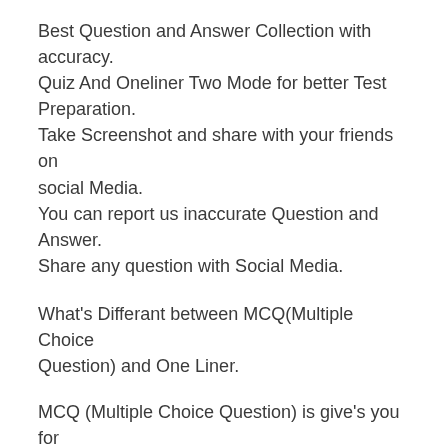Best Question and Answer Collection with accuracy. Quiz And Oneliner Two Mode for better Test Preparation.
Take Screenshot and share with your friends on social Media.
You can report us inaccurate Question and Answer. Share any question with Social Media.
What's Differant between MCQ(Multiple Choice Question) and One Liner.
MCQ (Multiple Choice Question) is give's you for choice option that according to best practice MCQ based paper.